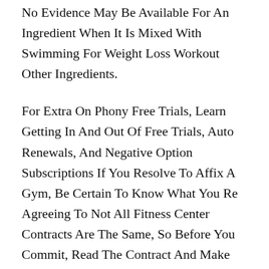No Evidence May Be Available For An Ingredient When It Is Mixed With Swimming For Weight Loss Workout Other Ingredients.
For Extra On Phony Free Trials, Learn Getting In And Out Of Free Trials, Auto Renewals, And Negative Option Subscriptions If You Resolve To Affix A Gym, Be Certain To Know What You Re Agreeing To Not All Fitness Center Contracts Are The Same, So Before You Commit, Read The Contract And Make Sure That It Contains Every Thing The Salesperson Promised Also Discover Out If There S A Cooling Swimming For Weight Loss Workout Off Or Trial Period, And Take A Look At The Best Weight Loss Program Cancellation Coverage You Can Also Look For Evaluations Online From Swimming For Weight Loss Workout Other Purchasers That Will Help You Resolve If You Need To Be A Part Of That Specific Health Club Using